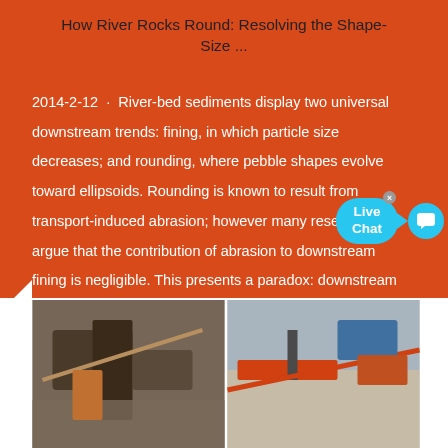How River Rocks Round: Resolving the Shape-Size ...
2014-2-12 · River-bed sediments display two universal downstream trends: fining, in which particle size decreases; and rounding, where pebble shapes evolve toward ellipsoids. Rounding is known to result from transport-induced abrasion; however many researchers argue that the contribution of abrasion to downstream fining is negligible. This presents a paradox: downstream shape change indicates …
[Figure (photo): Grid of four industrial/mining site photos showing crushing and conveying equipment, machinery, and open-pit operations.]